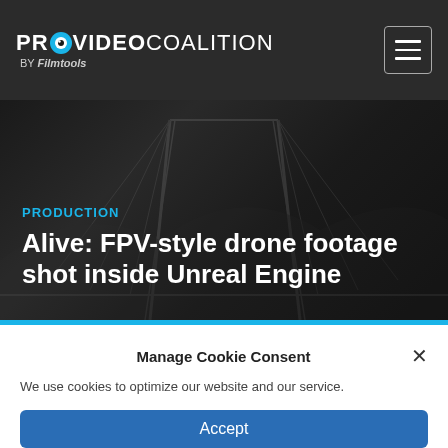PROVIDEO COALITION BY Filmtools
[Figure (screenshot): Dark hero image with faint bridge/infrastructure silhouette in the background]
PRODUCTION
Alive: FPV-style drone footage shot inside Unreal Engine
Manage Cookie Consent
We use cookies to optimize our website and our service.
Accept